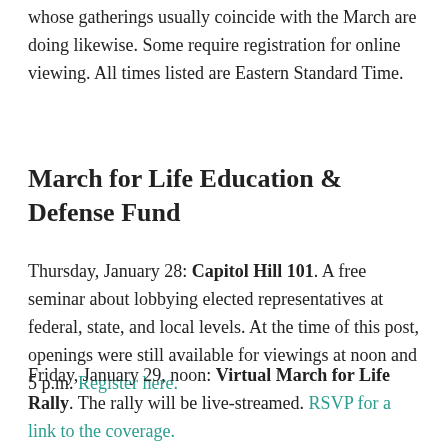whose gatherings usually coincide with the March are doing likewise. Some require registration for online viewing. All times listed are Eastern Standard Time.
March for Life Education & Defense Fund
Thursday, January 28: Capitol Hill 101. A free seminar about lobbying elected representatives at federal, state, and local levels. At the time of this post, openings were still available for viewings at noon and 5 p.m. Register here.
Friday, January 29, noon: Virtual March for Life Rally. The rally will be live-streamed. RSVP for a link to the coverage.